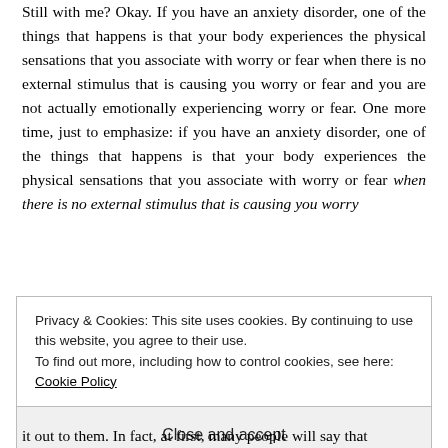Still with me? Okay. If you have an anxiety disorder, one of the things that happens is that your body experiences the physical sensations that you associate with worry or fear when there is no external stimulus that is causing you worry or fear and you are not actually emotionally experiencing worry or fear. One more time, just to emphasize: if you have an anxiety disorder, one of the things that happens is that your body experiences the physical sensations that you associate with worry or fear when there is no external stimulus that is causing you worry
Privacy & Cookies: This site uses cookies. By continuing to use this website, you agree to their use. To find out more, including how to control cookies, see here: Cookie Policy
Close and accept
it out to them. In fact, at first, many people will say that